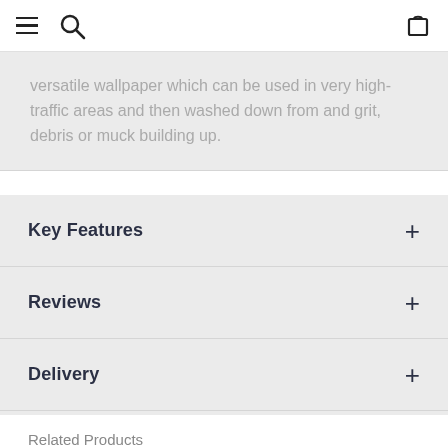Navigation header with menu, search, and bag icons
versatile wallpaper which can be used in very high-traffic areas and then washed down from and grit, debris or muck building up.
Key Features
Reviews
Delivery
Related Products